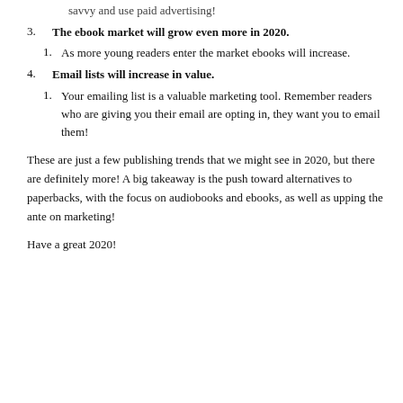savvy and use paid advertising!
The ebook market will grow even more in 2020.
As more young readers enter the market ebooks will increase.
Email lists will increase in value.
Your emailing list is a valuable marketing tool. Remember readers who are giving you their email are opting in, they want you to email them!
These are just a few publishing trends that we might see in 2020, but there are definitely more! A big takeaway is the push toward alternatives to paperbacks, with the focus on audiobooks and ebooks, as well as upping the ante on marketing!
Have a great 2020!